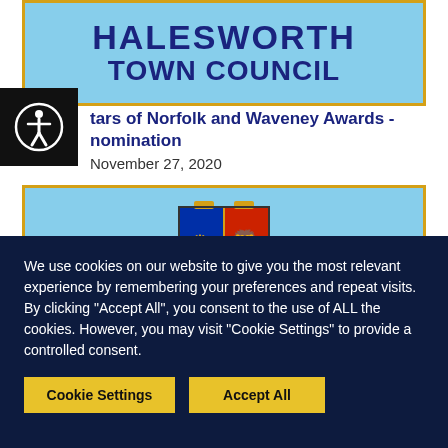HALESWORTH TOWN COUNCIL
[Figure (logo): Halesworth Town Council crest/coat of arms - shield divided into quarters with blue section showing golden crowns, red section showing a golden lion rampant, and red lower section showing three golden crowns]
Stars of Norfolk and Waveney Awards - nomination
November 27, 2020
We use cookies on our website to give you the most relevant experience by remembering your preferences and repeat visits. By clicking "Accept All", you consent to the use of ALL the cookies. However, you may visit "Cookie Settings" to provide a controlled consent.